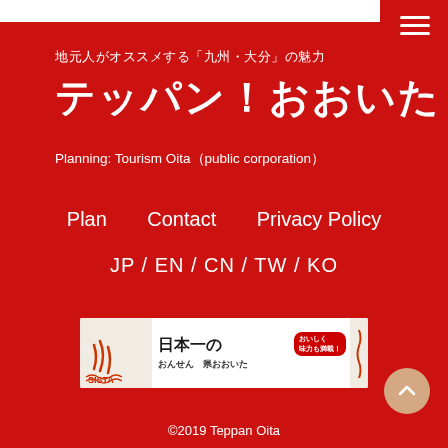地元人がオススメする「九州・大分」の魅力 テッパン！おおいた
Planning: Tourism Oita（public corporation）
Plan
Contact
Privacy Policy
JP / EN / CN / TW / KO
[Figure (illustration): Tourism Oita banner advertisement with steam/onsen illustration, text '日本一の' and '味力も満載！' in Japanese]
©2019 Teppan Oita